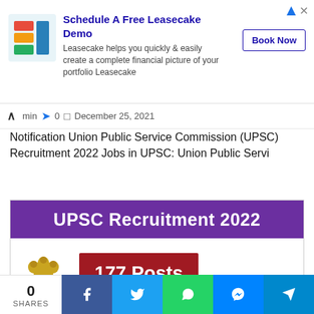[Figure (screenshot): Advertisement banner for Leasecake with logo, text and Book Now button]
min  0  December 25, 2021
Notification Union Public Service Commission (UPSC) Recruitment 2022 Jobs in UPSC: Union Public Servi
[Figure (illustration): UPSC Recruitment 2022 banner image with purple header, Ashoka emblem and 177 Posts red badge]
0 SHARES  [Facebook] [Twitter] [WhatsApp] [Messenger] [Telegram]